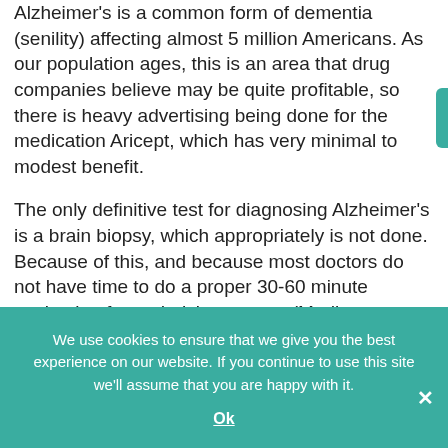Alzheimer's is a common form of dementia (senility) affecting almost 5 million Americans. As our population ages, this is an area that drug companies believe may be quite profitable, so there is heavy advertising being done for the medication Aricept, which has very minimal to modest benefit.
The only definitive test for diagnosing Alzheimer's is a brain biopsy, which appropriately is not done. Because of this, and because most doctors do not have time to do a proper 30-60 minute evaluation for underlying causes (Medicare pays poorly for
We use cookies to ensure that we give you the best experience on our website. If you continue to use this site we'll assume that you are happy with it.